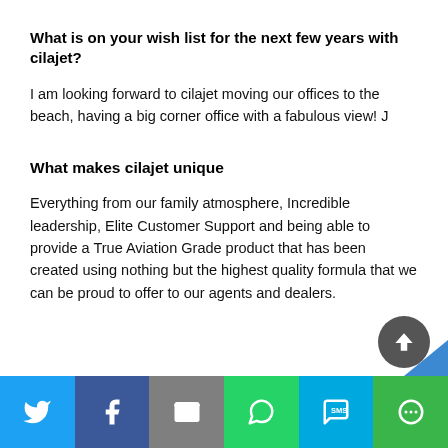What is on your wish list for the next few years with cilajet?
I am looking forward to cilajet moving our offices to the beach, having a big corner office with a fabulous view! J
What makes cilajet unique
Everything from our family atmosphere, Incredible leadership, Elite Customer Support and being able to provide a True Aviation Grade product that has been created using nothing but the highest quality formula that we can be proud to offer to our agents and dealers.
[Figure (other): Social media share bar with icons: Twitter, Facebook, Email, WhatsApp, SMS, More]